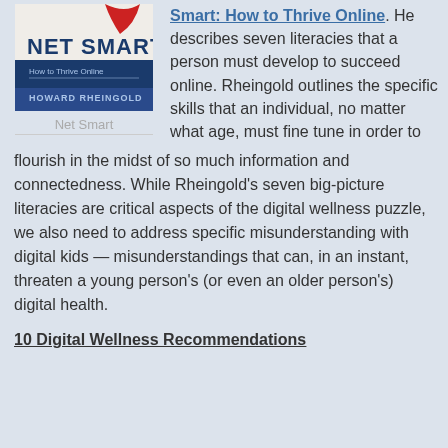[Figure (photo): Book cover of 'Net Smart: How to Thrive Online' by Howard Rheingold, showing the title in bold white and blue text against a light background]
Net Smart
Smart: How to Thrive Online. He describes seven literacies that a person must develop to succeed online. Rheingold outlines the specific skills that an individual, no matter what age, must fine tune in order to flourish in the midst of so much information and connectedness. While Rheingold's seven big-picture literacies are critical aspects of the digital wellness puzzle, we also need to address specific misunderstanding with digital kids — misunderstandings that can, in an instant, threaten a young person's (or even an older person's) digital health.
10 Digital Wellness Recommendations